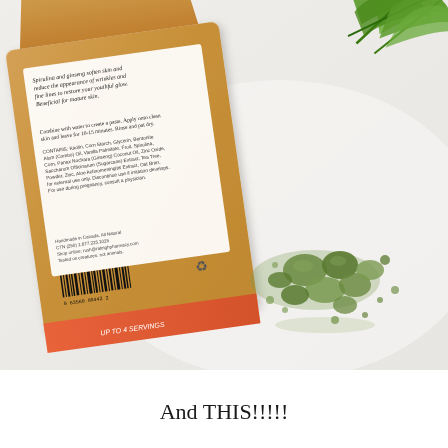[Figure (photo): Product photo showing the back of a kraft paper bag of Spirulina and Ginseng face mask powder, with green powder spilled beside it and green plant leaves visible in the top right corner. The bag label reads about spirulina and ginseng softening skin and reducing wrinkles. A barcode is visible at the bottom of the bag.]
And THIS!!!!!